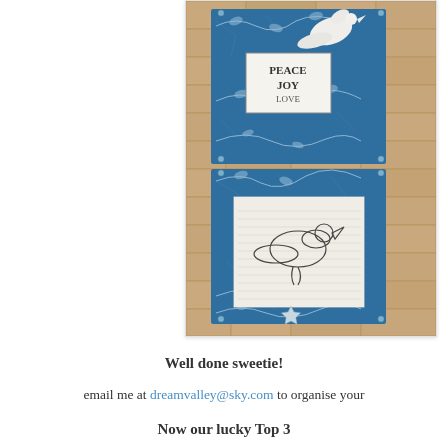[Figure (photo): A handcrafted card or wall art featuring two blue crackle-textured panels with silver leaf/vine embossing. The top panel has a white 3D dove and a small label reading PEACE JOY LOVE. The bottom panel has a stamped image of a dove with handwriting background and a silver star charm. Both panels are hung against a stone brick wall background.]
Well done sweetie!
email me at dreamvalley@sky.com to organise your
Now our lucky Top 3